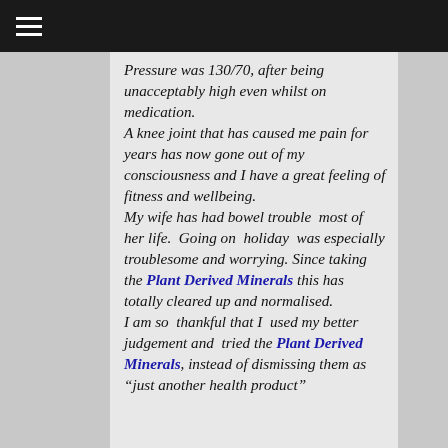Pressure was 130/70, after being unacceptably high even whilst on medication. A knee joint that has caused me pain for years has now gone out of my consciousness and I have a great feeling of fitness and wellbeing. My wife has had bowel trouble most of her life. Going on holiday was especially troublesome and worrying. Since taking the Plant Derived Minerals this has totally cleared up and normalised. I am so thankful that I used my better judgement and tried the Plant Derived Minerals, instead of dismissing them as "just another health product"